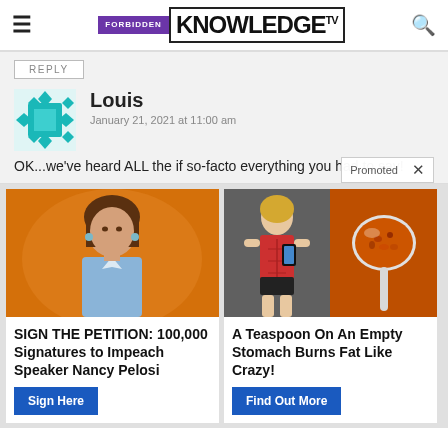FORBIDDEN KNOWLEDGE TV
REPLY
Louis
January 21, 2021 at 11:00 am
OK...we've heard ALL the if so-facto everything you had to say!
Promoted ×
[Figure (photo): Photo of Nancy Pelosi on orange background]
SIGN THE PETITION: 100,000 Signatures to Impeach Speaker Nancy Pelosi
Sign Here
[Figure (photo): Photo of fit woman exercising and a spoon with spice]
A Teaspoon On An Empty Stomach Burns Fat Like Crazy!
Find Out More